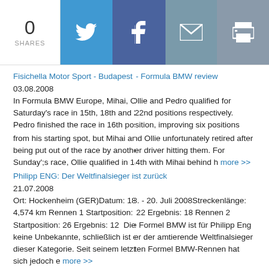0 SHARES | Twitter | Facebook | Email | Print
Fisichella Motor Sport - Budapest - Formula BMW review
03.08.2008
In Formula BMW Europe, Mihai, Ollie and Pedro qualified for Saturday's race in 15th, 18th and 22nd positions respectively. Pedro finished the race in 16th position, improving six positions from his starting spot, but Mihai and Ollie unfortunately retired after being put out of the race by another driver hitting them. For Sunday';s race, Ollie qualified in 14th with Mihai behind h more >>
Philipp ENG: Der Weltfinalsieger ist zurück
21.07.2008
Ort: Hockenheim (GER)Datum: 18. - 20. Juli 2008Streckenlänge: 4,574 km Rennen 1 Startposition: 22 Ergebnis: 18 Rennen 2 Startposition: 26 Ergebnis: 12  Die Formel BMW ist für Philipp Eng keine Unbekannte, schließlich ist er der amtierende Weltfinalsieger dieser Kategorie. Seit seinem letzten Formel BMW-Rennen hat sich jedoch e more >>
Kategorien
Teams-Drivers